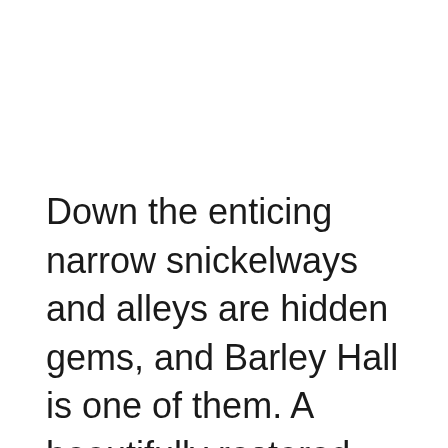Down the enticing narrow snickelways and alleys are hidden gems, and Barley Hall is one of them. A beautifully restored medieval merchant's hall, with a banquet set out worthy to receive Richard III when he visited York, and with whom the city closely identifies. There is a lot of fun to be had in York, and it is said that ghosts abound in the city and pubs. Nightly ghost walks are in